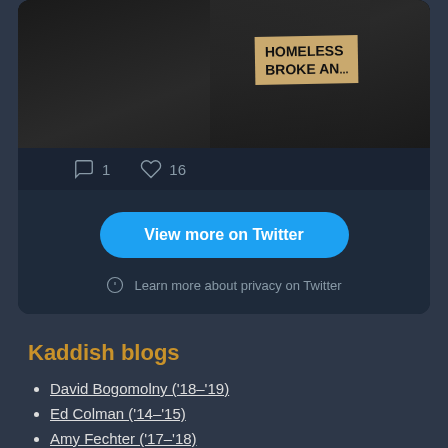[Figure (screenshot): Twitter embedded card showing a photo of a homeless person holding a sign reading 'HOMELESS BROKE AND...' with 1 comment and 16 likes shown below the image.]
1   16
View more on Twitter
Learn more about privacy on Twitter
Kaddish blogs
David Bogomolny ('18–'19)
Ed Colman ('14–'15)
Amy Fechter ('17–'18)
Tamar Fox ('08–'09)
Matthew Geller ('13)
Chanan Kassler ('12)